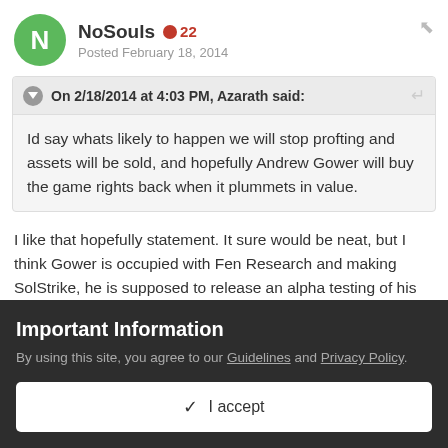NoSouls  22  Posted February 18, 2014
On 2/18/2014 at 4:03 PM, Azarath said:

Id say whats likely to happen we will stop profting and assets will be sold, and hopefully Andrew Gower will buy the game rights back when it plummets in value.
I like that hopefully statement. It sure would be neat, but I think Gower is occupied with Fen Research and making SolStrike, he is supposed to release an alpha testing of his new game in April some time. I don't think he wants to mess with RuneScape anymore personally. I think he had
Important Information
By using this site, you agree to our Guidelines and Privacy Policy.
✔ I accept